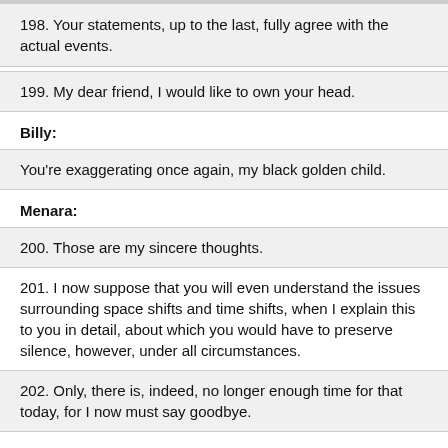198. Your statements, up to the last, fully agree with the actual events.
199. My dear friend, I would like to own your head.
Billy:
You're exaggerating once again, my black golden child.
Menara:
200. Those are my sincere thoughts.
201. I now suppose that you will even understand the issues surrounding space shifts and time shifts, when I explain this to you in detail, about which you would have to preserve silence, however, under all circumstances.
202. Only, there is, indeed, no longer enough time for that today, for I now must say goodbye.